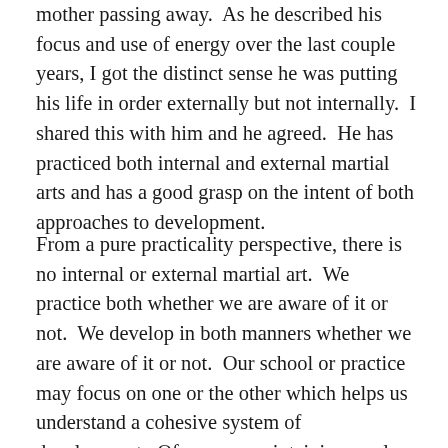mother passing away.  As he described his focus and use of energy over the last couple years, I got the distinct sense he was putting his life in order externally but not internally.  I shared this with him and he agreed.  He has practiced both internal and external martial arts and has a good grasp on the intent of both approaches to development.
From a pure practicality perspective, there is no internal or external martial art.  We practice both whether we are aware of it or not.  We develop in both manners whether we are aware of it or not.  Our school or practice may focus on one or the other which helps us understand a cohesive system of development.  Of course, maintaining a sole focus on one or the other